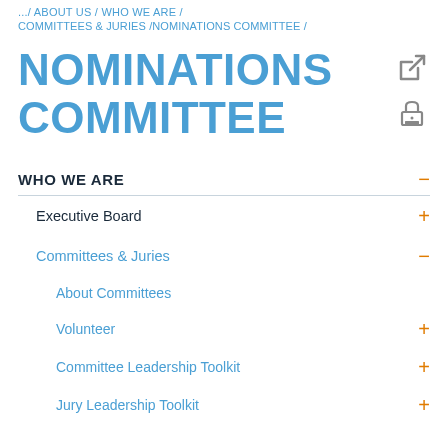.../ ABOUT US / WHO WE ARE /
COMMITTEES & JURIES / NOMINATIONS COMMITTEE /
NOMINATIONS COMMITTEE
WHO WE ARE −
Executive Board +
Committees & Juries −
About Committees
Volunteer +
Committee Leadership Toolkit +
Jury Leadership Toolkit +